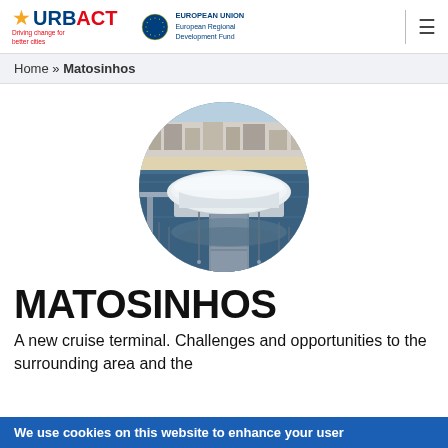URBACT – Driving change for better cities | EUROPEAN UNION European Regional Development Fund
Home » Matosinhos
[Figure (photo): Aerial circular photo of Matosinhos, Portugal, showing a white cruise terminal building on water with a pier, reflections visible in blue water, and a city/beach in the background.]
MATOSINHOS
A new cruise terminal. Challenges and opportunities to the surrounding area and the
We use cookies on this website to enhance your user